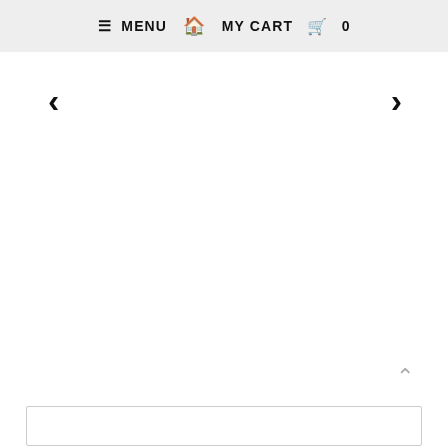≡ MENU  🏠  MY CART  🛒  0
<
>
[Figure (other): Empty white content area for product image carousel]
∧
[Figure (other): Bottom bordered box area]